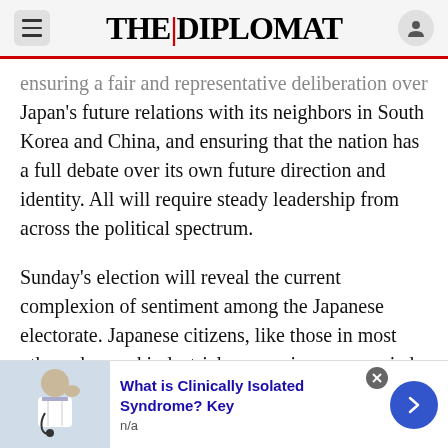THE DIPLOMAT
ensuring a fair and representative deliberation over Japan's future relations with its neighbors in South Korea and China, and ensuring that the nation has a full debate over its own future direction and identity. All will require steady leadership from across the political spectrum.
Sunday's election will reveal the current complexion of sentiment among the Japanese electorate. Japanese citizens, like those in most other advanced industrial economies, are worried about their ability to take care of their families. Whether they will show up at the polls to register their views on Mr. Abe's agenda remains to be seen.
[Figure (screenshot): Advertisement banner: doctor image on left, blue title 'What is Clinically Isolated Syndrome? Key', subtitle 'n/a', close button and next arrow on right]